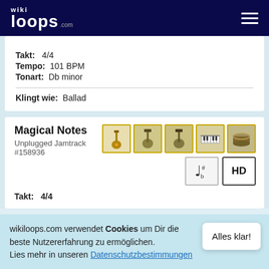wikiloops.com
Takt: 4/4
Tempo: 101 BPM
Tonart: Db minor
Klingt wie: Ballad
Magical Notes
Unplugged Jamtrack #158936
Takt: 4/4
wikiloops.com verwendet Cookies um Dir die beste Nutzererfahrung zu ermöglichen.
Lies mehr in unseren Datenschutzbestimmungen .